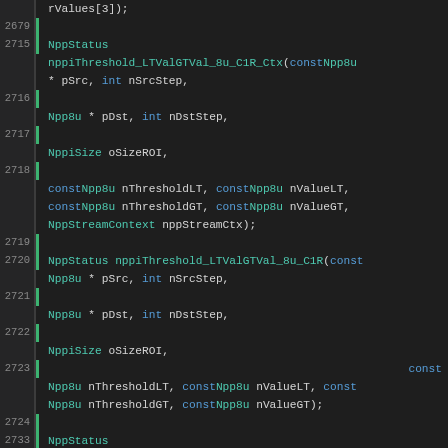Source code listing showing C API function declarations for nppiThreshold_LTValGTVal_8u_C1R_Ctx, nppiThreshold_LTValGTVal_8u_C1R, and nppiThreshold_LTValGTVal_8u_C1IR_Ctx functions with line numbers 2679-2737